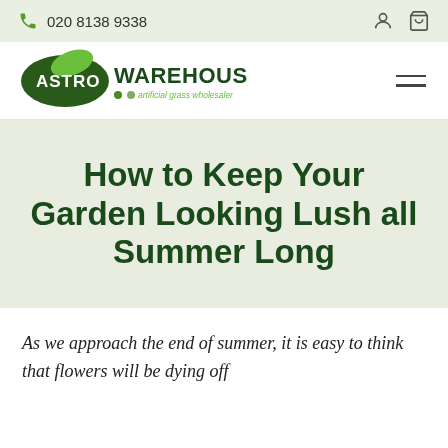020 8138 9338
[Figure (logo): Astro Warehouse artificial grass wholesaler logo — dark green oval with white ASTRO text and green leaf, followed by WAREHOUSE in bold dark green, with tagline 'artificial grass wholesaler' in small green text]
How to Keep Your Garden Looking Lush all Summer Long
As we approach the end of summer, it is easy to think that flowers will be dying off